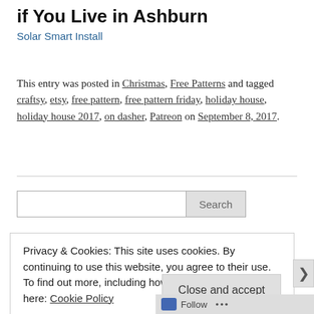if You Live in Ashburn
Solar Smart Install
This entry was posted in Christmas, Free Patterns and tagged craftsy, etsy, free pattern, free pattern friday, holiday house, holiday house 2017, on dasher, Patreon on September 8, 2017.
Privacy & Cookies: This site uses cookies. By continuing to use this website, you agree to their use.
To find out more, including how to control cookies, see here: Cookie Policy
Close and accept